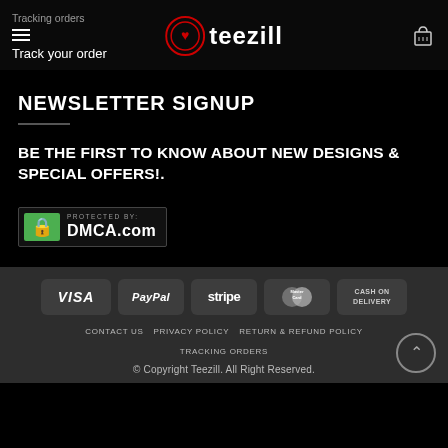Tracking orders | teezill | Track your order
NEWSLETTER SIGNUP
BE THE FIRST TO KNOW ABOUT NEW DESIGNS & SPECIAL OFFERS!.
[Figure (logo): DMCA.com Protected badge with green lock icon]
[Figure (logo): Payment method icons: VISA, PayPal, stripe, MasterCard, CASH ON DELIVERY]
CONTACT US | PRIVACY POLICY | RETURN & REFUND POLICY | TRACKING ORDERS | © Copyright Teezill. All Right Reserved.